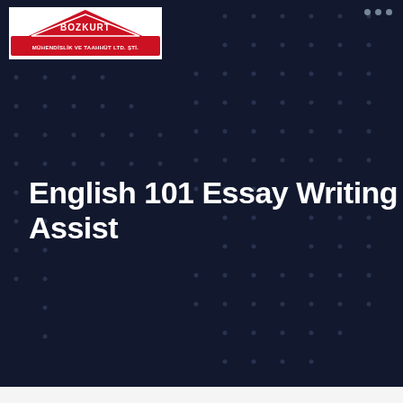[Figure (logo): Bozkurt Mühendislik ve Taahhüt Ltd. Şti. logo — red triangular logo with company name in red on white background]
English 101 Essay Writing Assist